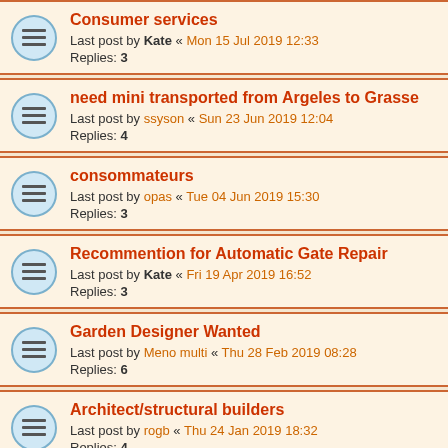Consumer services
Last post by Kate « Mon 15 Jul 2019 12:33
Replies: 3
need mini transported from Argeles to Grasse
Last post by ssyson « Sun 23 Jun 2019 12:04
Replies: 4
consommateurs
Last post by opas « Tue 04 Jun 2019 15:30
Replies: 3
Recommention for Automatic Gate Repair
Last post by Kate « Fri 19 Apr 2019 16:52
Replies: 3
Garden Designer Wanted
Last post by Meno multi « Thu 28 Feb 2019 08:28
Replies: 6
Architect/structural builders
Last post by rogb « Thu 24 Jan 2019 18:32
Replies: 4
EDF
Last post by ...